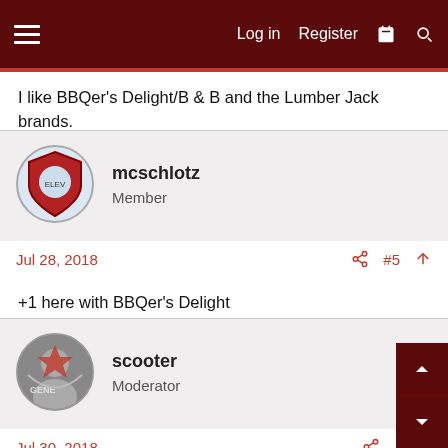Log in  Register
I like BBQer's Delight/B & B and the Lumber Jack brands.
mcschlotz
Member
Jul 28, 2018  #5
+1 here with BBQer's Delight
scooter
Moderator
Jul 30, 2018  #6
Yes, any food grade pellet brand you like. I like BBQrs Delight